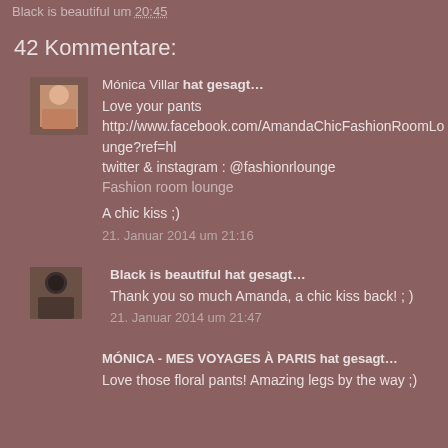Black is beautiful um 20:45
42 Kommentare:
Mónica Villar hat gesagt…
Love your pants
http://www.facebook.com/AmandaChicFashionRoomLounge?ref=hl
twitter & instagram : @fashionrlounge
Fashion room lounge

A chic kiss ;)
21. Januar 2014 um 21:16
Black is beautiful hat gesagt…
Thank you so much Amanda, a chic kiss back! ; )
21. Januar 2014 um 21:47
MÓNICA - MES VOYAGES À PARIS hat gesagt…
Love those floral pants! Amazing legs by the way ;)